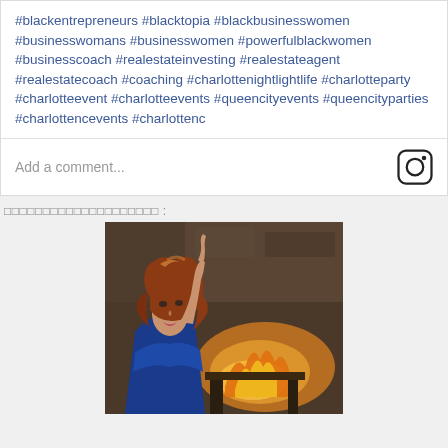#blackentrepreneurs #blacktopia #blackbusinesswomen #businesswomans #businesswomen #powerfulblackwomen #businesscoach #realestateinvesting #realestateagent #realestatecoach #coaching #charlottenightlightlife #charlotteparty #charlotteevent #charlotteevents #queencityevents #queencityparties #charlottencevents #charlottenc
Add a comment...
□□□□□□□□□□□□□□□□□□□□ :
[Figure (photo): A woman with reddish-brown wavy hair in a blue outfit sitting in front of a fireplace, pointing upward with one finger.]